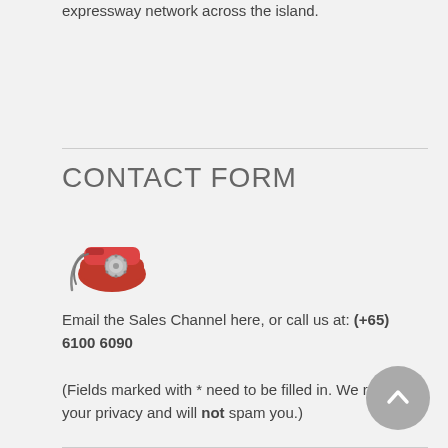expressway network across the island.
CONTACT FORM
[Figure (illustration): Red rotary telephone icon]
Email the Sales Channel here, or call us at: (+65) 6100 6090
(Fields marked with * need to be filled in. We respect your privacy and will not spam you.)